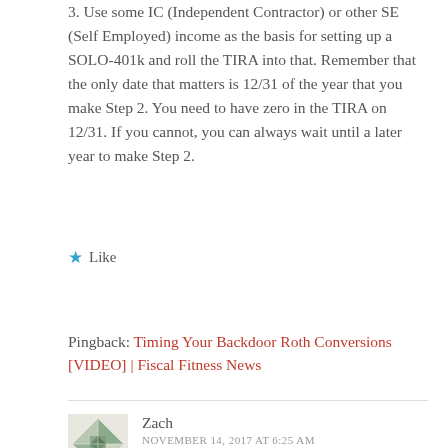3. Use some IC (Independent Contractor) or other SE (Self Employed) income as the basis for setting up a SOLO-401k and roll the TIRA into that. Remember that the only date that matters is 12/31 of the year that you make Step 2. You need to have zero in the TIRA on 12/31. If you cannot, you can always wait until a later year to make Step 2.
★ Like
Reply
Pingback: Timing Your Backdoor Roth Conversions [VIDEO] | Fiscal Fitness News
Zach
NOVEMBER 14, 2017 AT 6:25 AM